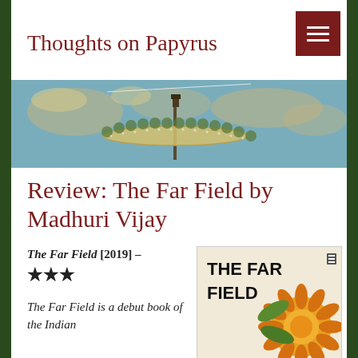Thoughts on Papyrus
[Figure (illustration): Panoramic banner illustration showing a retro futuristic space needle or tower structure with a circular platform ringed by trees, set against a world map background in teal/blue tones.]
Review: The Far Field by Madhuri Vijay
The Far Field [2019] – ★★★
The Far Field is a debut book of the Indian
[Figure (illustration): Book cover of The Far Field showing bold black text 'THE FAR FIELD' on a light background with a large orange marigold flower and green leaves.]